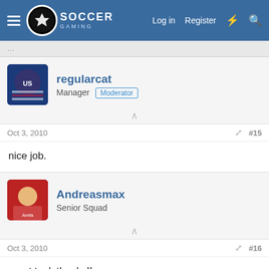Soccer Gaming — Log in  Register
regularcat
Manager  Moderator
Oct 3, 2010  #15
nice job.
Andreasmax
Senior Squad
Oct 3, 2010  #16
great tool, thanks!!
amifla
Reserve Team